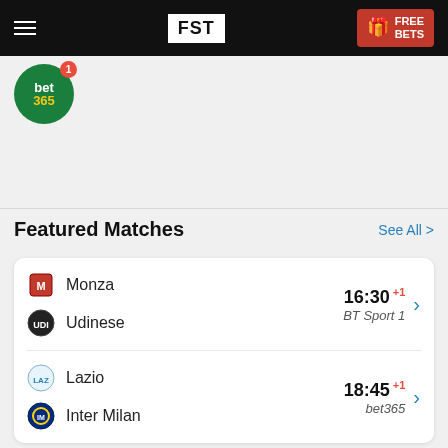FST | FREE BETS
[Figure (logo): bet365 circular green logo with notification badge showing 1]
Select Fixture
Featured Matches
See All >
Monza vs Udinese — 16:30 +1 — BT Sport 1
Lazio vs Inter Milan — 18:45 +1 — bet365